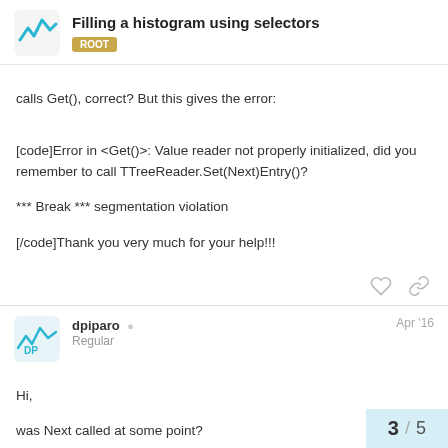Filling a histogram using selectors | ROOT
calls Get(), correct? But this gives the error:
[code]Error in <Get()>: Value reader not properly initialized, did you remember to call TTreeReader.Set(Next)Entry()?

*** Break *** segmentation violation

[/code]Thank you very much for your help!!!
dpiparo Regular Apr '16
Hi,

was Next called at some point?

Danilo
3 / 5